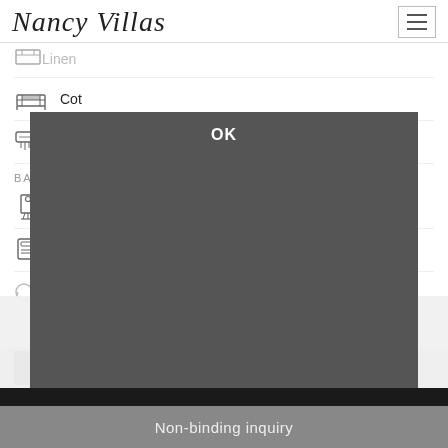Nancy Villas
Linen
Cot
Air conditioning in bedroom
BATHROOM
Shower cabin
Towels
Hairdryer
This website uses cookies to ensure that we give you the best user experience.
Privacy policy
PHOTO GALLERY
LIVING ROOM
OK
Non-binding inquiry